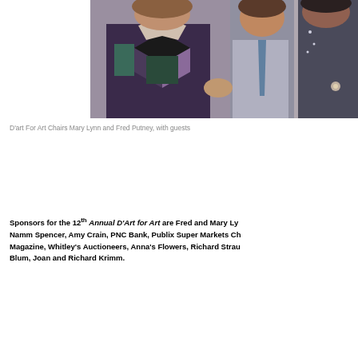[Figure (photo): Photo of D'art For Art Chairs Mary Lynn and Fred Putney with guests at an event. People dressed in formal attire including a woman in a geometric patterned dress.]
D'art For Art Chairs Mary Lynn and Fred Putney, with guests
Sponsors for the 12th Annual D'Art for Art are Fred and Mary Ly... Namm Spencer, Amy Crain, PNC Bank, Publix Super Markets Ch... Magazine, Whitley's Auctioneers, Anna's Flowers, Richard Strau... Blum, Joan and Richard Krimm.